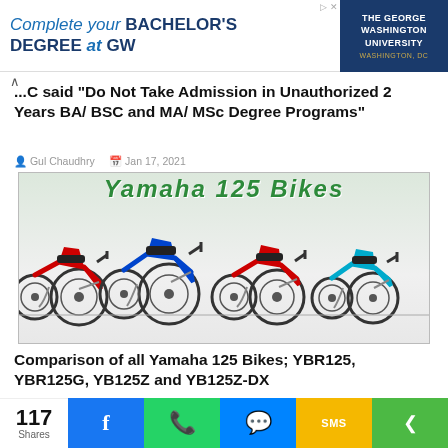[Figure (illustration): Advertisement banner for The George Washington University: 'Complete your BACHELOR'S DEGREE at GW' with GW logo on right]
...C said "Do Not Take Admission in Unauthorized 2 Years BA/ BSC and MA/ MSc Degree Programs"
Gul Chaudhry  Jan 17, 2021
[Figure (photo): Yamaha 125 Bikes lineup photo showing four motorcycles: red YBR125, blue YBR125G, red YB125Z, and blue YB125Z-DX with partial green banner text at top]
Comparison of all Yamaha 125 Bikes; YBR125, YBR125G, YB125Z and YB125Z-DX
Gul Chaudhry  Nov 08, 2020
117 Shares